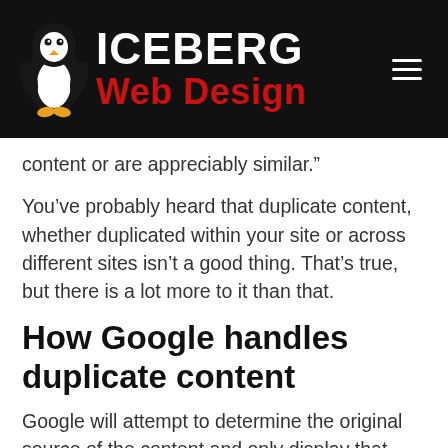[Figure (logo): Iceberg Web Design logo with penguin mascot on black background with hamburger menu icon]
content or are appreciably similar.”
You’ve probably heard that duplicate content, whether duplicated within your site or across different sites isn’t a good thing. That’s true, but there is a lot more to it than that.
How Google handles duplicate content
Google will attempt to determine the original source of the content and only display that